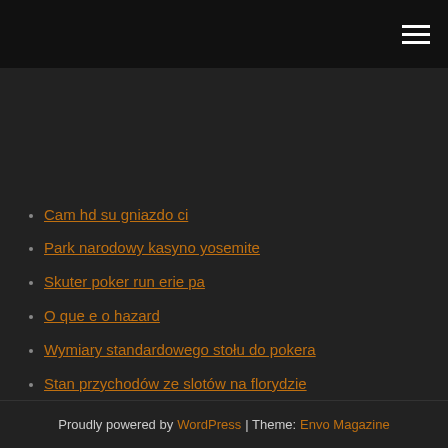[hamburger menu icon]
Cam hd su gniazdo ci
Park narodowy kasyno yosemite
Skuter poker run erie pa
O que e o hazard
Wymiary standardowego stołu do pokera
Stan przychodów ze slotów na florydzie
Phoenix casino la center wa
Proudly powered by WordPress | Theme: Envo Magazine